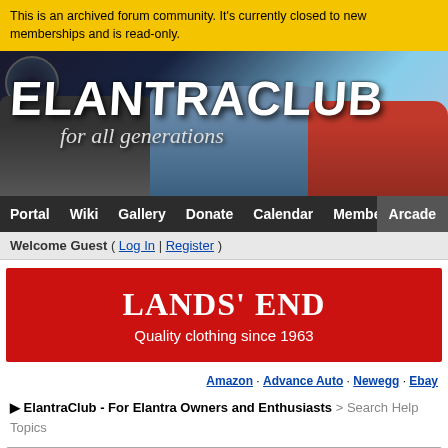This is an archived forum community. It's currently closed to new memberships and is read-only.
[Figure (illustration): ElantraClub forum header banner showing cars and logo text 'ELANTRACLUB for all generations']
Portal  Wiki  Gallery  Donate  Calendar  Members  Search  Help  Arcade
Welcome Guest ( Log In | Register )
[Figure (illustration): Lands' End advertisement banner - red background with white text reading 'LANDS' END Quality clothing since 1963']
Amazon · Advance Auto · Newegg · Ebay
▶ ElantraClub - For Elantra Owners and Enthusiasts > Search Help Topics
Search Help Topics